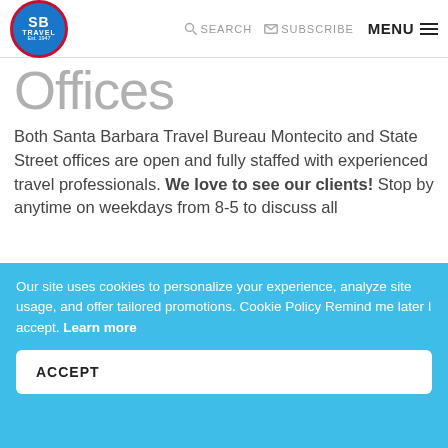SB TRAVEL Est. 1947 | SEARCH | SUBSCRIBE | MENU
Offices
Both Santa Barbara Travel Bureau Montecito and State Street offices are open and fully staffed with experienced travel professionals. We love to see our clients! Stop by anytime on weekdays from 8-5 to discuss all
Our site uses cookies to personalize your experience, analyze site usage, and offer tailored promotions. Cookie Policy Remind me later I accept. Learn more
ACCEPT